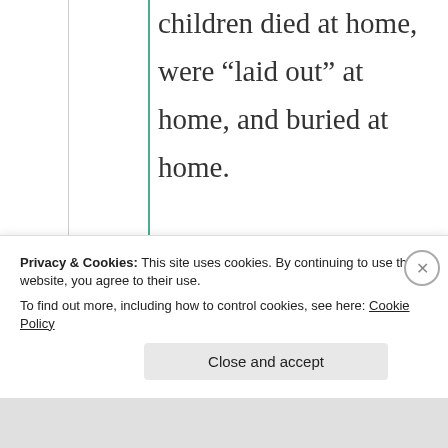children died at home, were “laid out” at home, and buried at home.

Now, most people never see a dead person. They are cremated and put in an urn, then scattered or buried. We have somehow lost sight of the fact that eventually
Privacy & Cookies: This site uses cookies. By continuing to use this website, you agree to their use.
To find out more, including how to control cookies, see here: Cookie Policy
Close and accept